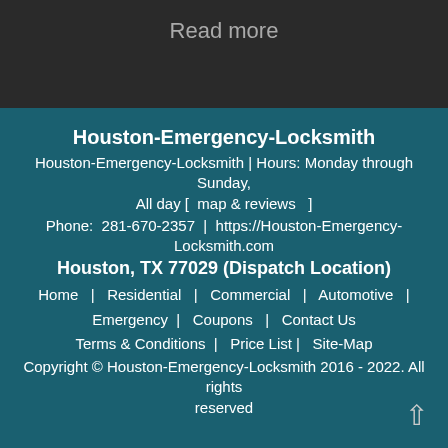Read more
Houston-Emergency-Locksmith
Houston-Emergency-Locksmith | Hours: Monday through Sunday, All day [  map & reviews  ]
Phone:  281-670-2357  |  https://Houston-Emergency-Locksmith.com
Houston, TX 77029 (Dispatch Location)
Home   |   Residential   |   Commercial   |   Automotive   |   Emergency   |   Coupons   |   Contact Us
Terms & Conditions   |   Price List |   Site-Map
Copyright © Houston-Emergency-Locksmith 2016 - 2022. All rights reserved